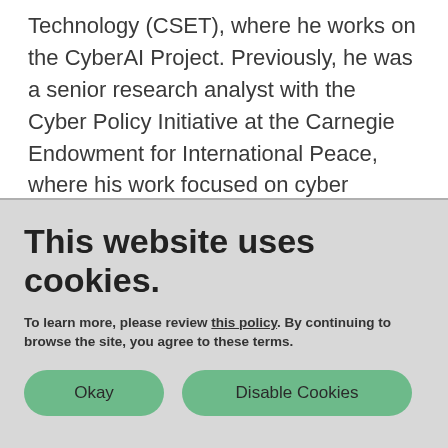Technology (CSET), where he works on the CyberAI Project. Previously, he was a senior research analyst with the Cyber Policy Initiative at the Carnegie Endowment for International Peace, where his work focused on cyber strategy, the role of the private sector in cybersecurity and the intersection of nuclear weapons and cybersecurity
This website uses cookies.
To learn more, please review this policy. By continuing to browse the site, you agree to these terms.